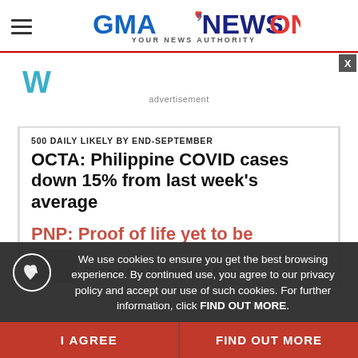GMA NEWS ONLINE — YOUR NEWS AUTHORITY
[Figure (screenshot): Advertisement area with Weatherbug-style icon and close button]
advertisement
500 DAILY LIKELY BY END-SEPTEMBER
OCTA: Philippine COVID cases down 15% from last week's average
PNP: Proof of life yet to be...
We use cookies to ensure you get the best browsing experience. By continued use, you agree to our privacy policy and accept our use of such cookies. For further information, click FIND OUT MORE.
I AGREE
FIND OUT MORE